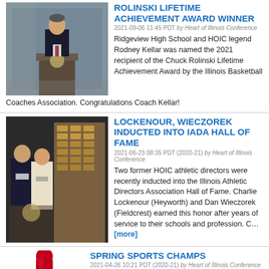ROLINSKI LIFETIME ACHIEVEMENT AWARD WINNER
2021-09-06 11:45 PDT by Heart of Illinois Conference
Ridgeview High School and HOIC legend Rodney Kellar was named the 2021 recipient of the Chuck Rolinski Lifetime Achievement Award by the Illinois Basketball Coaches Association. Congratulations Coach Kellar!
LOCKENOUR, WIECZOREK INDUCTED INTO IADA HALL OF FAME
2021-06-23 08:35 PDT (2020-21) by Heart of Illinois Conference
Two former HOIC athletic directors were recently inducted into the Illinois Athletic Directors Association Hall of Fame. Charlie Lockenour (Heyworth) and Dan Wieczorek (Fieldcrest) earned this honor after years of service to their schools and profession. C... [more]
SPRING SPORTS CHAMPS
2021-04-26 10:21 PDT (2020-21) by Heart of Illinois Conference
Spring sports have concluded with Dee-Mack baseball and Tremont softball claiming HOIC championships. In track and field, Eureka won both the boys and girls McLean County Track Meet to claim HOIC supremacy. Congratulations to these spring sports HOIC champi...